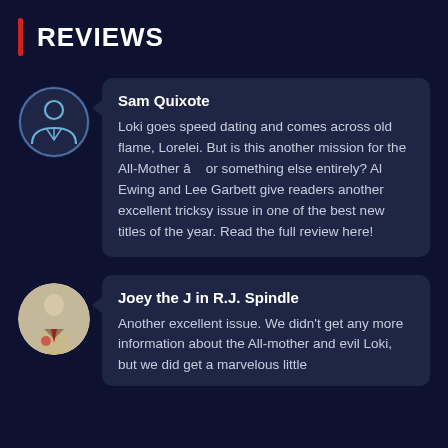REVIEWS
Sam Quixote
Loki goes speed dating and comes across old flame, Lorelei. But is this another mission for the All-Mother â or something else entirely? Al Ewing and Lee Garbett give readers another excellent tricksy issue in one of the best new titles of the year. Read the full review here!
Joey the J in R.J. Spindle
Another excellent issue. We didn't get any more information about the All-mother and evil Loki, but we did get a marvelous little